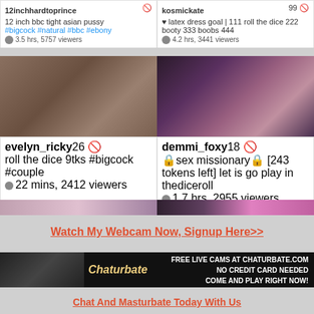12inchhardtoprince | 12 inch bbc tight asian pussy #bigcock #natural #bbc #ebony | 3.5 hrs, 5757 viewers
kosmickate 99 | latex dress goal | 111 roll the dice 222 booty 333 boobs 444 | 4.2 hrs, 3441 viewers
[Figure (photo): evelyn_ricky webcam thumbnail]
[Figure (photo): demmi_foxy webcam thumbnail]
evelyn_ricky 26 | roll the dice 9tks #bigcock #couple | 22 mins, 2412 viewers
demmi_foxy 18 | sex missionary [243 tokens left] let is go play in thediceroll | 1.7 hrs, 2955 viewers
Watch My Webcam Now, Signup Here>>
[Figure (photo): Chaturbate banner ad - FREE LIVE CAMS AT CHATURBATE.COM NO CREDIT CARD NEEDED COME AND PLAY RIGHT NOW!]
Chat And Masturbate Today With Us